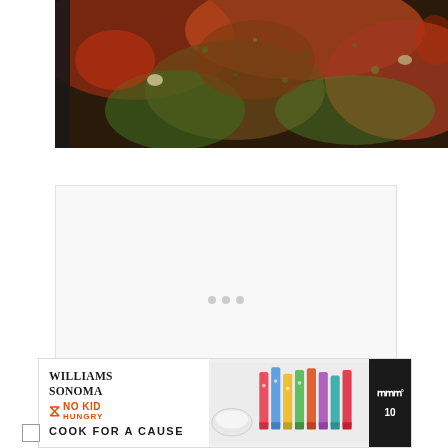[Figure (photo): Close-up photo of food cooking in a pan - appears to be a tomato-based stew or ratatouille with herbs, green vegetables, and red tomato sauce]
[Figure (other): Advertisement placeholder with three loading dots in center - white/light gray background]
[Figure (other): Williams Sonoma No Kid Hungry - Cook For A Cause advertisement banner with colorful spatulas and Meal logo]